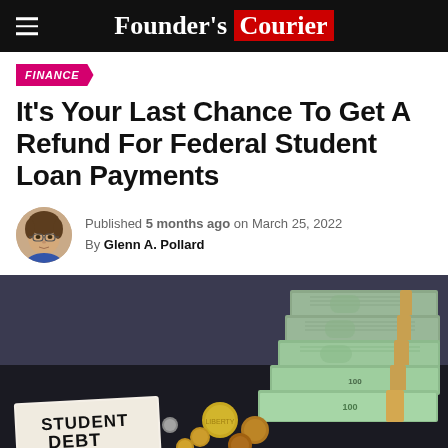Founder's Courier
FINANCE
It's Your Last Chance To Get A Refund For Federal Student Loan Payments
Published 5 months ago on March 25, 2022
By Glenn A. Pollard
[Figure (photo): Photo of stacks of hundred dollar bills bound with rubber bands alongside coins and a handwritten sign reading 'STUDENT DEBT' on a dark surface]